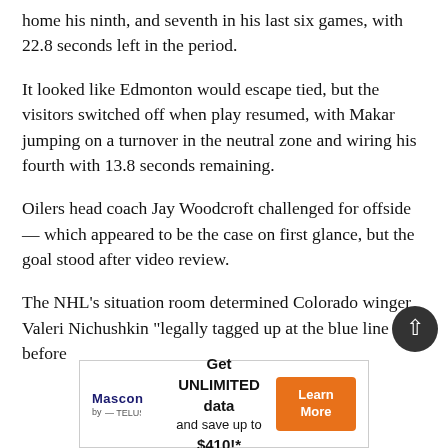home his ninth, and seventh in his last six games, with 22.8 seconds left in the period.
It looked like Edmonton would escape tied, but the visitors switched off when play resumed, with Makar jumping on a turnover in the neutral zone and wiring his fourth with 13.8 seconds remaining.
Oilers head coach Jay Woodcroft challenged for offside — which appeared to be the case on first glance, but the goal stood after video review.
The NHL's situation room determined Colorado winger Valeri Nichushkin "legally tagged up at the blue line before
[Figure (other): Advertisement banner: Mascon by TELUS logo on left, text 'Get UNLIMITED data and save up to $410!*' in center, orange 'Learn More' button on right]